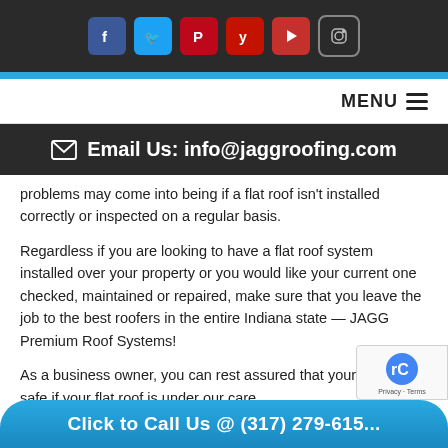[Figure (other): Social media icons bar: Facebook, Twitter, Pinterest, Yelp, YouTube, Instagram on dark background]
Email Us: info@jaggroofing.com
MENU
problems may come into being if a flat roof isn't installed correctly or inspected on a regular basis.
Regardless if you are looking to have a flat roof system installed over your property or you would like your current one checked, maintained or repaired, make sure that you leave the job to the best roofers in the entire Indiana state — JAGG Premium Roof Systems!
As a business owner, you can rest assured that your building is safe if your flat roof is under our care.
Click to Call Us @ (317) 279-615...